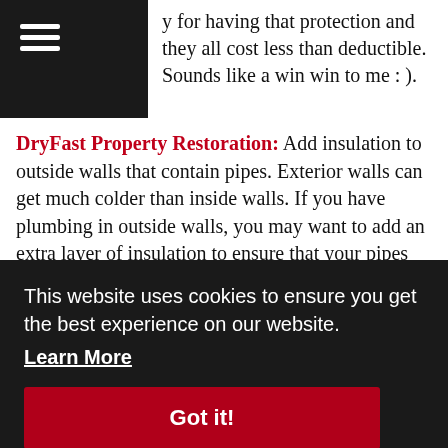y for having that protection and they all cost less than deductible. Sounds like a win win to me : ).
DryFast Property Restoration: Add insulation to outside walls that contain pipes. Exterior walls can get much colder than inside walls. If you have plumbing in outside walls, you may want to add an extra layer of insulation to ensure that your pipes are protected. If you see moisture or mold on the interior wall surface, surface cracks or nail pops, or your walls feel cool to the touch,
This website uses cookies to ensure you get the best experience on our website.
Learn More
Got it!
doing it right!